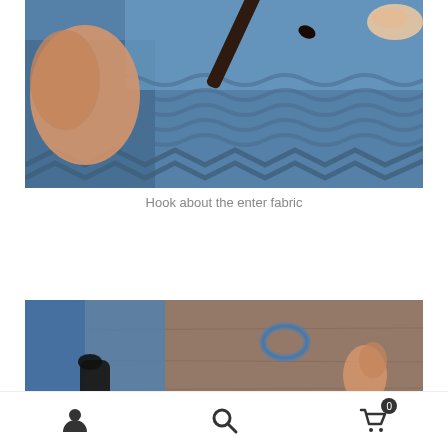[Figure (photo): Close-up photo of hands working with a dark crochet hook inserted into blue knitted/crocheted fabric showing hook entering the center of the fabric]
Hook about the enter fabric
[Figure (photo): Partial photo showing blue fabric/yarn items on a wooden surface with a finger visible and a small blue object]
User icon, Search icon, Cart icon with badge 0